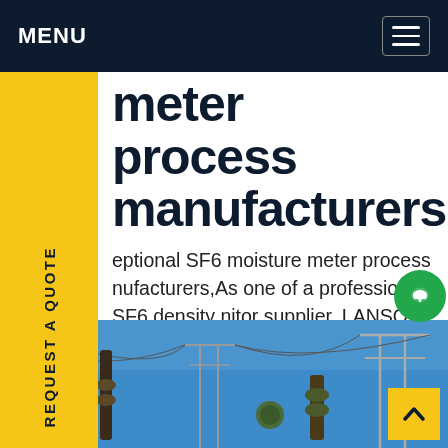MENU
meter process manufacturers
exceptional SF6 moisture meter process manufacturers,As one of a professional SF6 density monitor supplier, LANSO offers ZMJ100PRDH SF6 gas density micro-moisture integrated collector with good-quality and high-accuracy. We can offer a variety of SF6 gas density monitor to meet your different needs. Make An Inquiry with Your Unique Selection!Get price
[Figure (photo): Electrical power substation infrastructure with transmission towers, insulators, and overhead power lines against a blue sky]